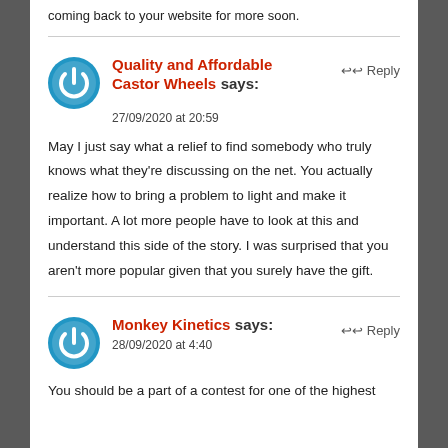coming back to your website for more soon.
Quality and Affordable Castor Wheels says:
27/09/2020 at 20:59

May I just say what a relief to find somebody who truly knows what they're discussing on the net. You actually realize how to bring a problem to light and make it important. A lot more people have to look at this and understand this side of the story. I was surprised that you aren't more popular given that you surely have the gift.
Monkey Kinetics says:
28/09/2020 at 4:40

You should be a part of a contest for one of the highest